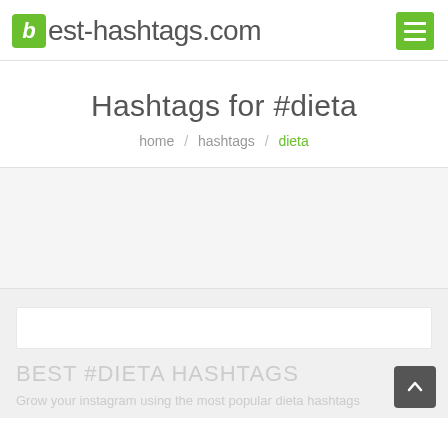best-hashtags.com
Hashtags for #dieta
home / hashtags / dieta
BEST #DIETA HASHTAGS
Grow your instagram using the most popular dieta hashtags